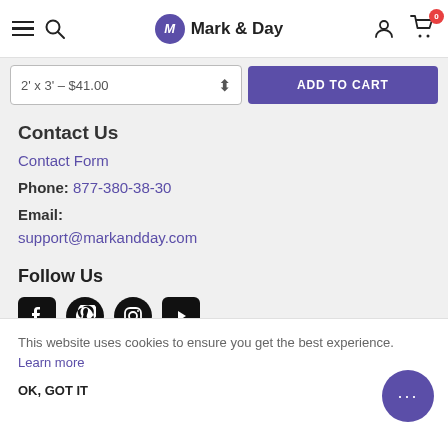Mark & Day — navigation bar with hamburger, search, logo, user icon, cart (0)
2' x 3' – $41.00  |  ADD TO CART
Contact Us
Contact Form
Phone: 877-380-38-30
Email:
support@markandday.com
Follow Us
[Figure (illustration): Social media icons: Facebook, Pinterest, Instagram, YouTube]
This website uses cookies to ensure you get the best experience. Learn more
OK, GOT IT